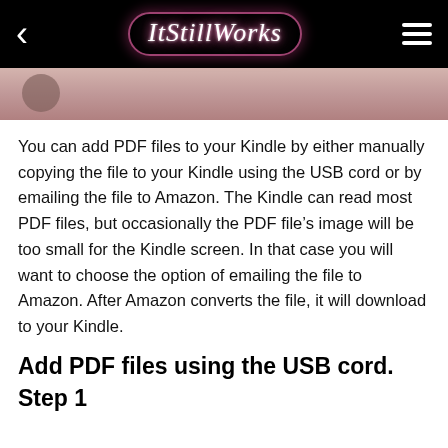ItStillWorks
[Figure (photo): Partial photo showing a person's hands, cropped at the top of the content area]
You can add PDF files to your Kindle by either manually copying the file to your Kindle using the USB cord or by emailing the file to Amazon. The Kindle can read most PDF files, but occasionally the PDF file's image will be too small for the Kindle screen. In that case you will want to choose the option of emailing the file to Amazon. After Amazon converts the file, it will download to your Kindle.
Add PDF files using the USB cord.
Step 1